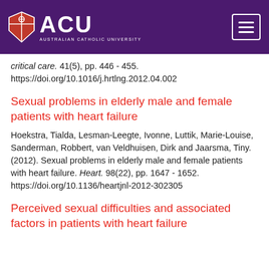[Figure (logo): Australian Catholic University (ACU) logo with shield and wordmark on purple header bar with hamburger menu button]
critical care. 41(5), pp. 446 - 455. https://doi.org/10.1016/j.hrtlng.2012.04.002
Sexual problems in elderly male and female patients with heart failure
Hoekstra, Tialda, Lesman-Leegte, Ivonne, Luttik, Marie-Louise, Sanderman, Robbert, van Veldhuisen, Dirk and Jaarsma, Tiny. (2012). Sexual problems in elderly male and female patients with heart failure. Heart. 98(22), pp. 1647 - 1652. https://doi.org/10.1136/heartjnl-2012-302305
Perceived sexual difficulties and associated factors in patients with heart failure